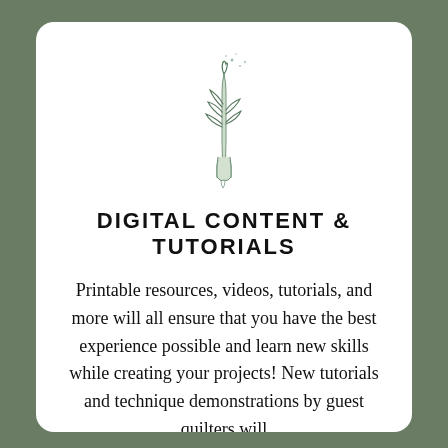[Figure (illustration): A small line-drawing illustration of a hand holding a plant/botanical sprig with leaves and small dots/sparkles above it, drawn in a minimalist style with light sage/gray-green coloring.]
DIGITAL CONTENT & TUTORIALS
Printable resources, videos, tutorials, and more will all ensure that you have the best experience possible and learn new skills while creating your projects! New tutorials and technique demonstrations by guest quilters will